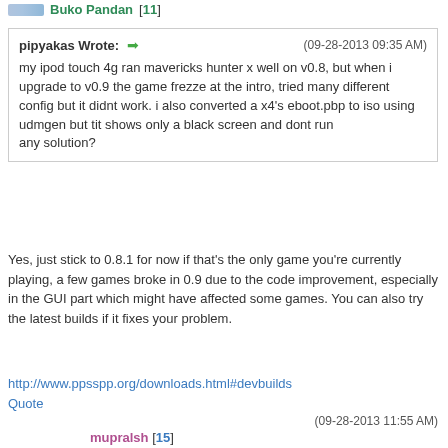Buko Pandan [11]
pipyakas Wrote: → (09-28-2013 09:35 AM)
my ipod touch 4g ran mavericks hunter x well on v0.8, but when i upgrade to v0.9 the game frezze at the intro, tried many different config but it didnt work. i also converted a x4's eboot.pbp to iso using udmgen but tit shows only a black screen and dont run
any solution?
Yes, just stick to 0.8.1 for now if that's the only game you're currently playing, a few games broke in 0.9 due to the code improvement, especially in the GUI part which might have affected some games. You can also try the latest builds if it fixes your problem.
http://www.ppsspp.org/downloads.html#devbuilds
Quote
(09-28-2013 11:55 AM)
mupralsh [15]
I moved and added your thread to the compatibility list as